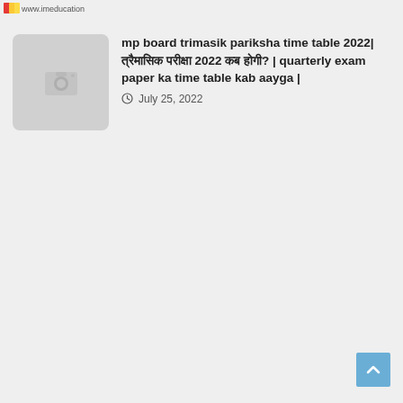www.imeducation.in
[Figure (photo): Placeholder thumbnail image with camera icon]
mp board trimasik pariksha time table 2022| त्रैमासिक परीक्षा 2022 कब होगी? | quarterly exam paper ka time table kab aayga |
July 25, 2022